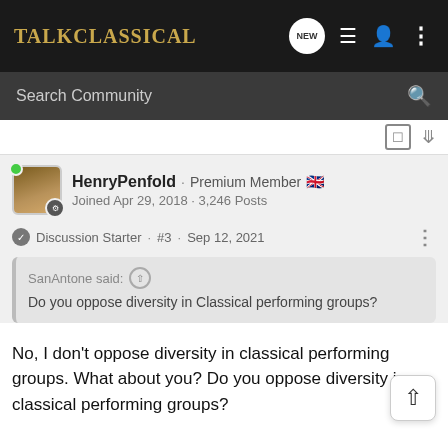Talk Classical
Search Community
HenryPenfold · Premium Member 🇬🇧
Joined Apr 29, 2018 · 3,246 Posts
Discussion Starter · #3 · Sep 12, 2021
SanAntone said:
Do you oppose diversity in Classical performing groups?
No, I don't oppose diversity in classical performing groups. What about you? Do you oppose diversity in classical performing groups?